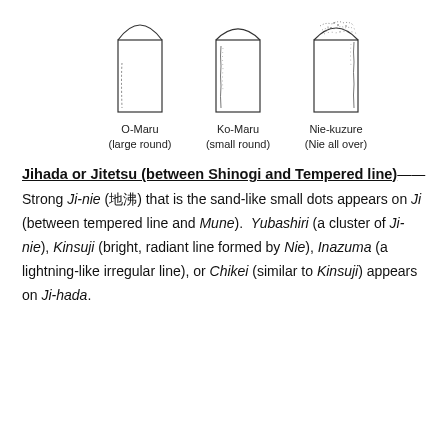[Figure (illustration): Three diagrams of Japanese sword blade cross-sections showing different hamon (temper line) types: O-Maru (large round), Ko-Maru (small round), and Nie-kuzure (Nie all over). Each shows a rectangular blade profile with an arched temper line at the top.]
O-Maru (large round)   Ko-Maru (small round)   Nie-kuzure (Nie all over)
Jihada or Jitetsu (between Shinogi and Tempered line)—— Strong Ji-nie (地沸) that is the sand-like small dots appears on Ji (between tempered line and Mune). Yubashiri (a cluster of Ji-nie), Kinsuji (bright, radiant line formed by Nie), Inazuma (a lightning-like irregular line), or Chikei (similar to Kinsuji) appears on Ji-hada.